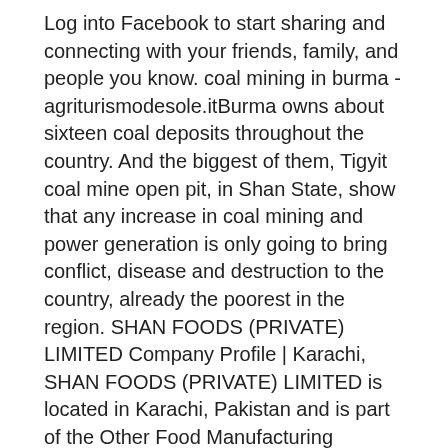Log into Facebook to start sharing and connecting with your friends, family, and people you know. coal mining in burma - agriturismodesole.itBurma owns about sixteen coal deposits throughout the country. And the biggest of them, Tigyit coal mine open pit, in Shan State, show that any increase in coal mining and power generation is only going to bring conflict, disease and destruction to the country, already the poorest in the region. SHAN FOODS (PRIVATE) LIMITED Company Profile | Karachi, SHAN FOODS (PRIVATE) LIMITED is located in Karachi, Pakistan and is part of the Other Food Manufacturing Industry. SHAN FOODS (PRIVATE) LIMITED has 1400 total employees across all of its locations and generates $83.88 million in sales (USD). (Employees figure is estimated). (DOC) LECT NOTES 1- (Operations Management) | Shan Lin - Operations Management Emergence as a FieldIn the late 1950s and early 1960s scholars began dealing specifically with OM as opposed to industrial engineering or operations research. Strategy